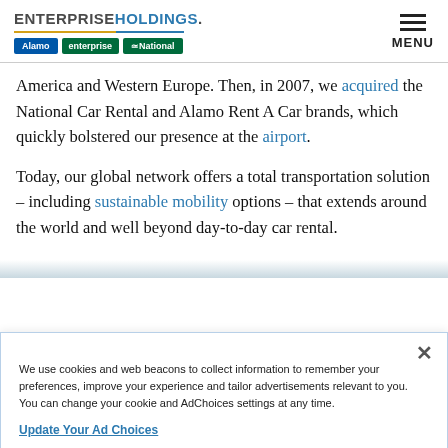ENTERPRISE HOLDINGS — Alamo, Enterprise, National — MENU
America and Western Europe. Then, in 2007, we acquired the National Car Rental and Alamo Rent A Car brands, which quickly bolstered our presence at the airport.
Today, our global network offers a total transportation solution – including sustainable mobility options – that extends around the world and well beyond day-to-day car rental.
We use cookies and web beacons to collect information to remember your preferences, improve your experience and tailor advertisements relevant to you. You can change your cookie and AdChoices settings at any time.
Update Your Ad Choices